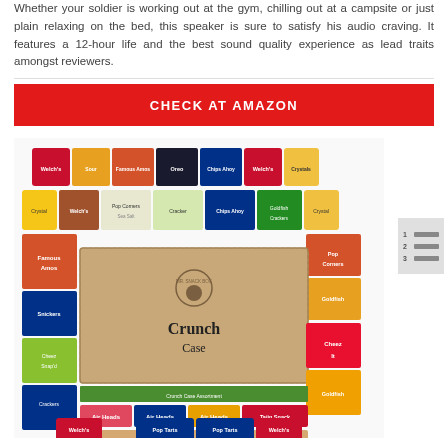Whether your soldier is working out at the gym, chilling out at a campsite or just plain relaxing on the bed, this speaker is sure to satisfy his audio craving. It features a 12-hour life and the best sound quality experience as lead traits amongst reviewers.
[Figure (other): Red button/banner with white bold uppercase text saying 'CHECK AT AMAZON']
[Figure (photo): Photo of a 'Crunch Case' snack box surrounded by various snack packages including Welch's, Famous Amos, Oreo, Chips Ahoy, Cheez It, Goldfish, Airheads, Snickers, Cracker Jack, Pop Corners, and other branded snacks arranged in a grid around a central cardboard box labeled 'CRUNCH CASE' with a MR. SNACK BOX logo.]